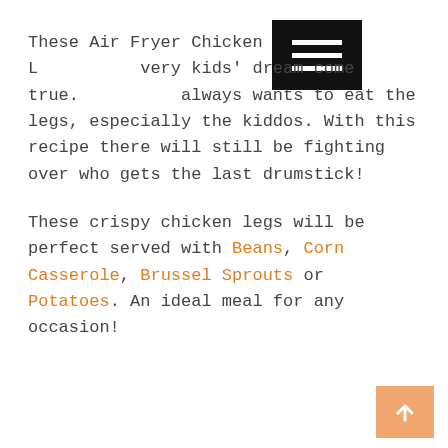These Air Fryer Chicken Legs are every kids' dream come true. Everyone always wants to eat the legs, especially the kiddos. With this recipe there will still be fighting over who gets the last drumstick!
These crispy chicken legs will be perfect served with Beans, Corn Casserole, Brussel Sprouts or Potatoes. An ideal meal for any occasion!